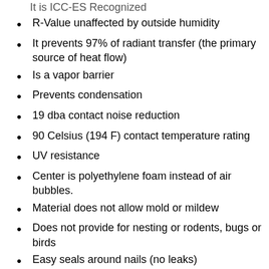It is ICC-ES Recognized (partial, top cut off)
R-Value unaffected by outside humidity
It prevents 97% of radiant transfer (the primary source of heat flow)
Is a vapor barrier
Prevents condensation
19 dba contact noise reduction
90 Celsius (194 F) contact temperature rating
UV resistance
Center is polyethylene foam instead of air bubbles.
Material does not allow mold or mildew
Does not provide for nesting or rodents, bugs or birds
Easy seals around nails (no leaks)
100% recyclable virgin raw materials; therefore (cut off)